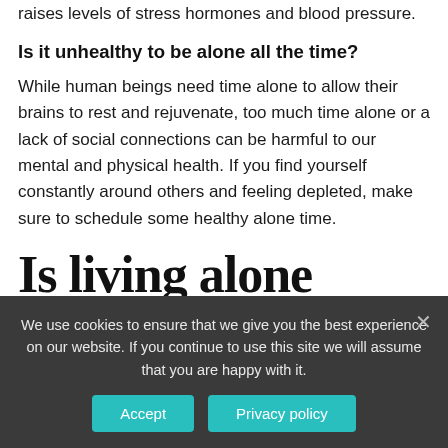raises levels of stress hormones and blood pressure.
Is it unhealthy to be alone all the time?
While human beings need time alone to allow their brains to rest and rejuvenate, too much time alone or a lack of social connections can be harmful to our mental and physical health. If you find yourself constantly around others and feeling depleted, make sure to schedule some healthy alone time.
Is living alone unhealthy?
We use cookies to ensure that we give you the best experience on our website. If you continue to use this site we will assume that you are happy with it.